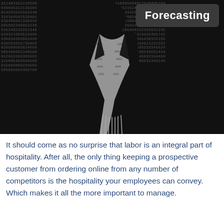[Figure (photo): A person wearing a black coat and a scarf covered with numbers/digits, standing against a dark background also covered in numbers. A dark rounded rectangle label reading 'Forecasting' appears in the upper right corner.]
It should come as no surprise that labor is an integral part of hospitality. After all, the only thing keeping a prospective customer from ordering online from any number of competitors is the hospitality your employees can convey. Which makes it all the more important to manage.